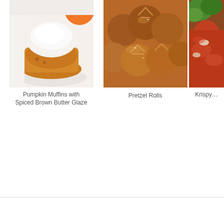[Figure (photo): Photo of pumpkin muffin with white frosting/glaze on a plate, with an orange in the background]
Pumpkin Muffins with Spiced Brown Butter Glaze
[Figure (photo): Photo of pretzel rolls piled together, golden-brown with scored tops]
Pretzel Rolls
[Figure (photo): Partial photo (cropped at right edge) of a Krispy dish with green garnish and red sauce]
Krispy...